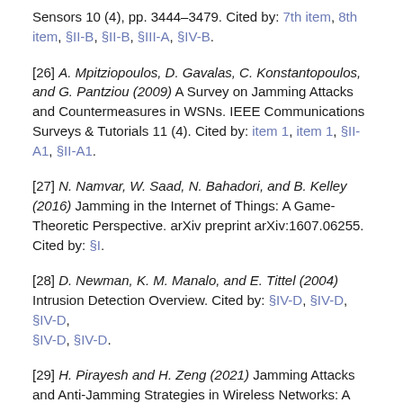Sensors 10 (4), pp. 3444–3479. Cited by: 7th item, 8th item, §II-B, §II-B, §III-A, §IV-B.
[26] A. Mpitziopoulos, D. Gavalas, C. Konstantopoulos, and G. Pantziou (2009) A Survey on Jamming Attacks and Countermeasures in WSNs. IEEE Communications Surveys & Tutorials 11 (4). Cited by: item 1, item 1, §II-A1, §II-A1.
[27] N. Namvar, W. Saad, N. Bahadori, and B. Kelley (2016) Jamming in the Internet of Things: A Game-Theoretic Perspective. arXiv preprint arXiv:1607.06255. Cited by: §I.
[28] D. Newman, K. M. Manalo, and E. Tittel (2004) Intrusion Detection Overview. Cited by: §IV-D, §IV-D, §IV-D, §IV-D, §IV-D.
[29] H. Pirayesh and H. Zeng (2021) Jamming Attacks and Anti-Jamming Strategies in Wireless Networks: A